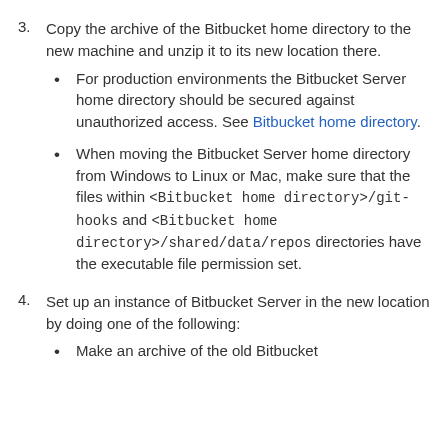3. Copy the archive of the Bitbucket home directory to the new machine and unzip it to its new location there.
For production environments the Bitbucket Server home directory should be secured against unauthorized access. See Bitbucket home directory.
When moving the Bitbucket Server home directory  from Windows to Linux or Mac, make sure that the files within <Bitbucket home directory>/git-hooks and <Bitbucket home directory>/shared/data/repos directories have the executable file permission set.
4. Set up an instance of Bitbucket Server in the new location by doing one of the following:
Make an archive of the old Bitbucket